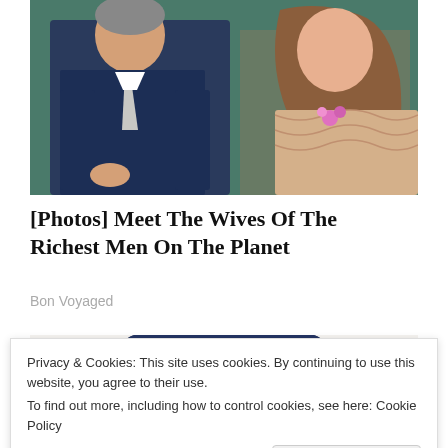[Figure (photo): A man in a dark navy suit with a light tie sits next to a woman with long brown hair wearing a beige lace top with a pink flower accessory. Green background visible behind them.]
[Photos] Meet The Wives Of The Richest Men On The Planet
Bon Voyaged
[Figure (photo): A person wearing a large dark navy cowboy hat, partially visible below the hat brim.]
Privacy & Cookies: This site uses cookies. By continuing to use this website, you agree to their use.
To find out more, including how to control cookies, see here: Cookie Policy
Luk og acceptér